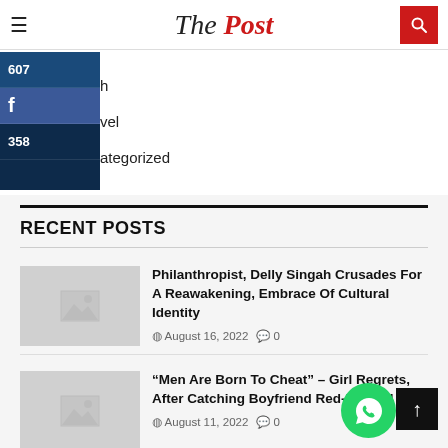The Post
607 h | vel | 358 ategorized
RECENT POSTS
Philanthropist, Delly Singah Crusades For A Reawakening, Embrace Of Cultural Identity — August 16, 2022 — 0 comments
“Men Are Born To Cheat” – Girl Regrets, After Catching Boyfriend Red-handed — August 11, 2022 — 0 comments